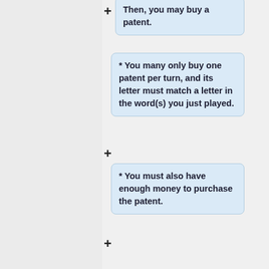Then, you may buy a patent.
* You many only buy one patent per turn, and its letter must match a letter in the word(s) you just played.
* You must also have enough money to purchase the patent.
* Each patent can only be owned by one player
* Once a patent has been purchased, it